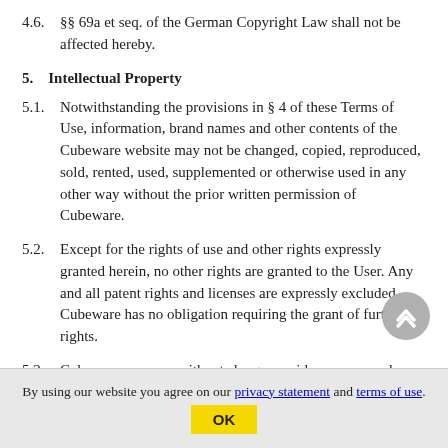4.6.   §§ 69a et seq. of the German Copyright Law shall not be affected hereby.
5.   Intellectual Property
5.1.   Notwithstanding the provisions in § 4 of these Terms of Use, information, brand names and other contents of the Cubeware website may not be changed, copied, reproduced, sold, rented, used, supplemented or otherwise used in any other way without the prior written permission of Cubeware.
5.2.   Except for the rights of use and other rights expressly granted herein, no other rights are granted to the User. Any and all patent rights and licenses are expressly excluded.
Cubeware has no obligation requiring the grant of further rights.
5.3.   Cubeware may use without charge any idea or proposal stored by a User on the Cubeware Websites for the development, improvement and
By using our website you agree on our privacy statement and terms of use.
OK